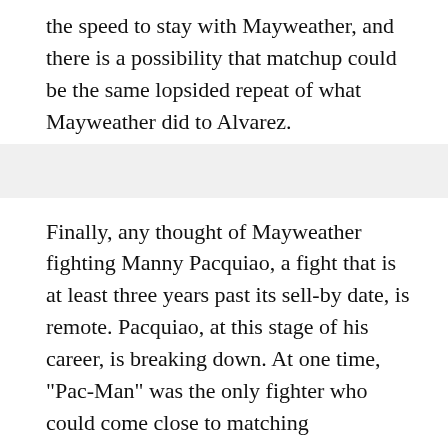the speed to stay with Mayweather, and there is a possibility that matchup could be the same lopsided repeat of what Mayweather did to Alvarez.
Finally, any thought of Mayweather fighting Manny Pacquiao, a fight that is at least three years past its sell-by date, is remote. Pacquiao, at this stage of his career, is breaking down. At one time, "Pac-Man" was the only fighter who could come close to matching Mayweather's speed. Now, Pacquiao is a shell of what he used to be in 2008, when he was at the height of his powers after devouring Oscar De La Hoya.
Today, Mayweather would easily stop the shopworn Pacquiao. It's a fight that has come and gone, with